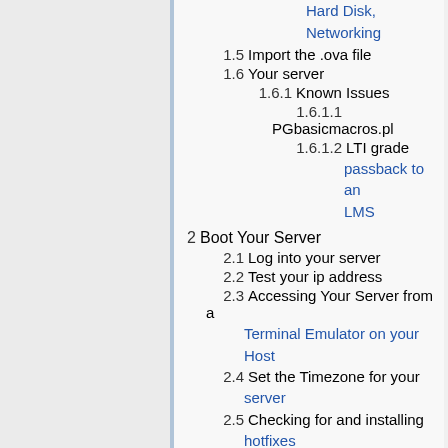Hard Disk, Networking
1.5  Import the .ova file
1.6  Your server
1.6.1  Known Issues
1.6.1.1  PGbasicmacros.pl
1.6.1.2  LTI grade passback to an LMS
2  Boot Your Server
2.1  Log into your server
2.2  Test your ip address
2.3  Accessing Your Server from a Terminal Emulator on your Host
2.4  Set the Timezone for your server
2.5  Checking for and installing hotfixes
2.6  WeBWorK configuration
2.6.1  Edit the site.conf file
2.6.2  The defaults.config file
2.6.3  Edit the